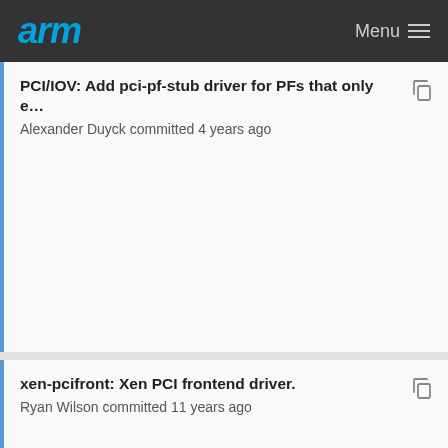arm  Menu
PCI/IOV: Add pci-pf-stub driver for PFs that only e...
Alexander Duyck committed 4 years ago
xen-pcifront: Xen PCI frontend driver.
Ryan Wilson committed 11 years ago
xen/pci: Make xen-pcifront be dependent on XEN_...
Konrad Rzeszutek Wilk committed 11 years ago